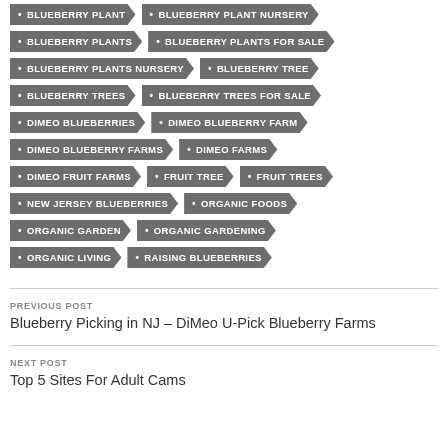BLUEBERRY PLANT
BLUEBERRY PLANT NURSERY
BLUEBERRY PLANTS
BLUEBERRY PLANTS FOR SALE
BLUEBERRY PLANTS NURSERY
BLUEBERRY TREE
BLUEBERRY TREES
BLUEBERRY TREES FOR SALE
DIMEO BLUEBERRIES
DIMEO BLUEBERRY FARM
DIMEO BLUEBERRY FARMS
DIMEO FARMS
DIMEO FRUIT FARMS
FRUIT TREE
FRUIT TREES
NEW JERSEY BLUEBERRIES
ORGANIC FOODS
ORGANIC GARDEN
ORGANIC GARDENING
ORGANIC LIVING
RAISING BLUEBERRIES
PREVIOUS POST
Blueberry Picking in NJ – DiMeo U-Pick Blueberry Farms
NEXT POST
Top 5 Sites For Adult Cams